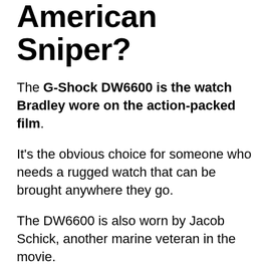Watch Featured in American Sniper?
The G-Shock DW6600 is the watch Bradley wore on the action-packed film.
It’s the obvious choice for someone who needs a rugged watch that can be brought anywhere they go.
The DW6600 is also worn by Jacob Schick, another marine veteran in the movie.
In the real world, the overall durability